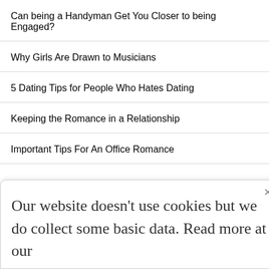Can being a Handyman Get You Closer to being Engaged?
Why Girls Are Drawn to Musicians
5 Dating Tips for People Who Hates Dating
Keeping the Romance in a Relationship
Important Tips For An Office Romance
Our website doesn't use cookies but we do collect some basic data. Read more at our